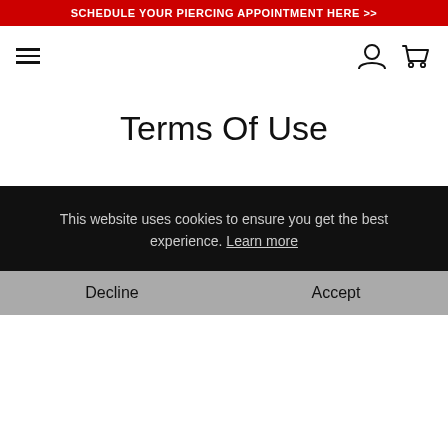SCHEDULE YOUR PIERCING APPOINTMENT HERE >>
Terms Of Use
This website uses cookies to ensure you get the best experience. Learn more
Decline    Accept